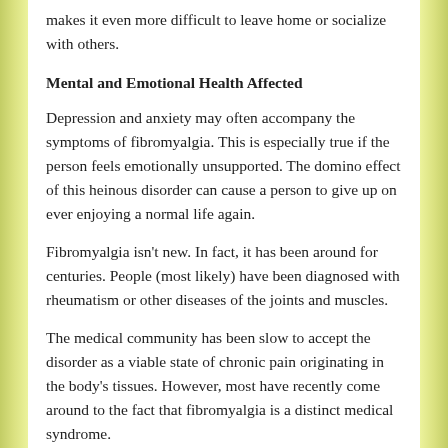makes it even more difficult to leave home or socialize with others.
Mental and Emotional Health Affected
Depression and anxiety may often accompany the symptoms of fibromyalgia. This is especially true if the person feels emotionally unsupported. The domino effect of this heinous disorder can cause a person to give up on ever enjoying a normal life again.
Fibromyalgia isn't new. In fact, it has been around for centuries. People (most likely) have been diagnosed with rheumatism or other diseases of the joints and muscles.
The medical community has been slow to accept the disorder as a viable state of chronic pain originating in the body's tissues. However, most have recently come around to the fact that fibromyalgia is a distinct medical syndrome.
Women Most Affected By